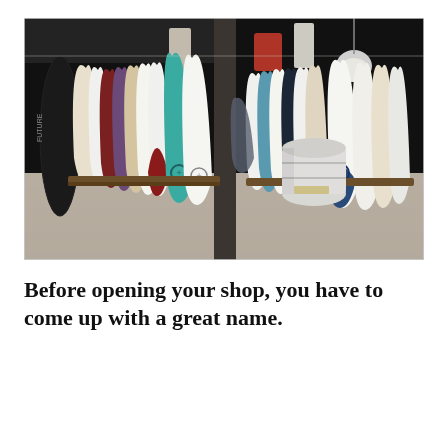[Figure (photo): Interior of a surf shop showing many surfboards of various colors (white, teal, red, purple, beige) leaning vertically in a wooden rack along a dark wall. A white barrel/drum sits in the foreground right. Clothing items hang in the background. Concrete floor, dark ceiling with a pendant light.]
Before opening your shop, you have to come up with a great name.